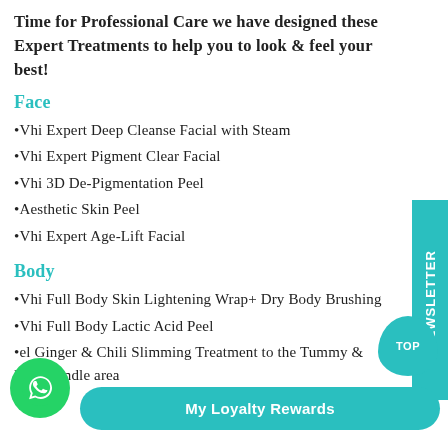Time for Professional Care we have designed these Expert Treatments to help you to look & feel your best!
Face
•Vhi Expert Deep Cleanse Facial with Steam
•Vhi Expert Pigment Clear Facial
•Vhi 3D De-Pigmentation Peel
•Aesthetic Skin Peel
•Vhi Expert Age-Lift Facial
Body
•Vhi Full Body Skin Lightening Wrap+ Dry Body Brushing
•Vhi Full Body Lactic Acid Peel
•el Ginger & Chili Slimming Treatment to the Tummy & Love handle area